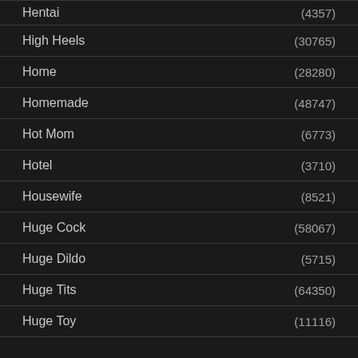Hentai (4357)
High Heels (30765)
Home (28280)
Homemade (48747)
Hot Mom (6773)
Hotel (3710)
Housewife (8521)
Huge Cock (58067)
Huge Dildo (5715)
Huge Tits (64350)
Huge Toy (11116)